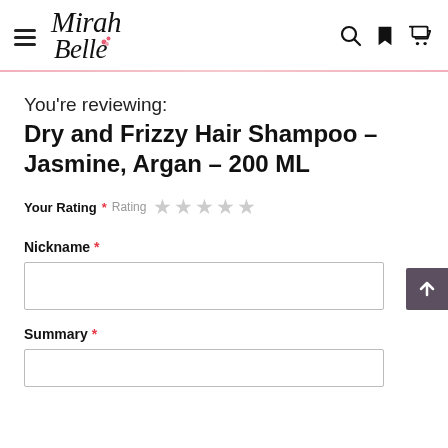Mirah Belle — navigation header with hamburger menu, logo, search, bookmark, and cart icons
You're reviewing:
Dry and Frizzy Hair Shampoo – Jasmine, Argan – 200 ML
Your Rating * Rating ★★★★★
Nickname *
Summary *